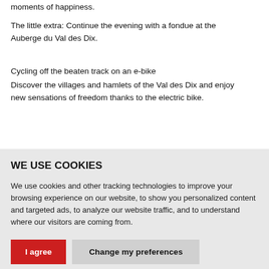moments of happiness.
The little extra: Continue the evening with a fondue at the Auberge du Val des Dix.
Cycling off the beaten track on an e-bike
Discover the villages and hamlets of the Val des Dix and enjoy new sensations of freedom thanks to the electric bike.
WE USE COOKIES
We use cookies and other tracking technologies to improve your browsing experience on our website, to show you personalized content and targeted ads, to analyze our website traffic, and to understand where our visitors are coming from.
I agree  Change my preferences